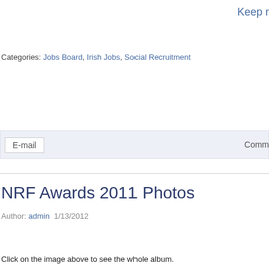Keep r
Categories: Jobs Board, Irish Jobs, Social Recruitment
E-mail
Comm
NRF Awards 2011 Photos
Author: admin  1/13/2012
Click on the image above to see the whole album.